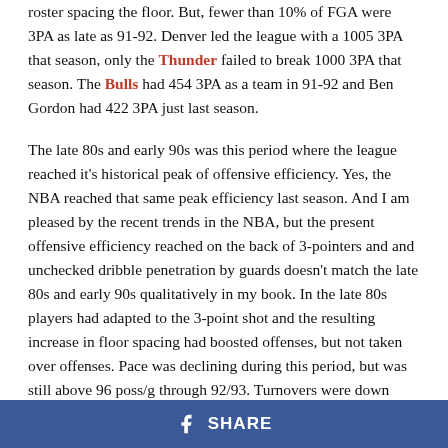roster spacing the floor. But, fewer than 10% of FGA were 3PA as late as 91-92. Denver led the league with a 1005 3PA that season, only the Thunder failed to break 1000 3PA that season. The Bulls had 454 3PA as a team in 91-92 and Ben Gordon had 422 3PA just last season.
The late 80s and early 90s was this period where the league reached it's historical peak of offensive efficiency. Yes, the NBA reached that same peak efficiency last season. And I am pleased by the recent trends in the NBA, but the present offensive efficiency reached on the back of 3-pointers and and unchecked dribble penetration by guards doesn't match the late 80s and early 90s qualitatively in my book. In the late 80s players had adapted to the 3-point shot and the resulting increase in floor spacing had boosted offenses, but not taken over offenses. Pace was declining during this period, but was still above 96 poss/g through 92/93. Turnovers were down
SHARE